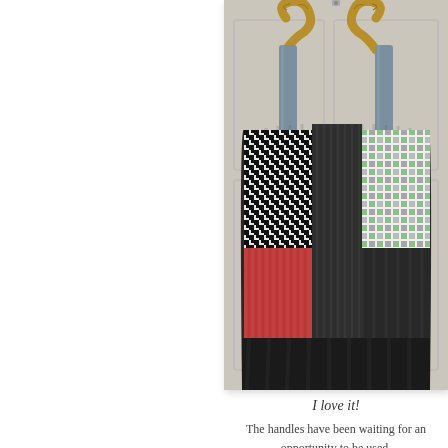[Figure (photo): A patchwork fabric handbag with bamboo handles, hanging on a white door. The bag features patches of black/white houndstooth, dark charcoal ribbed fabric, a red/coral ribbed square patch, and a white fabric with gray and green squares pattern. The handles are curved bamboo attached with denim/blue fabric straps.]
I love it!
The handles have been waiting for an opportunity to be used. I found them a while back at a th... They were attached to a purse that had s...